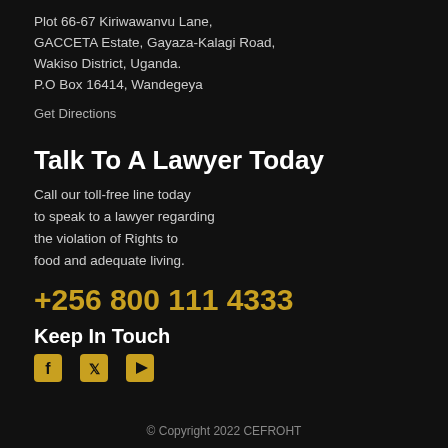Plot 66-67 Kiriwawanvu Lane, GACCETA Estate, Gayaza-Kalagi Road, Wakiso District, Uganda. P.O Box 16414, Wandegeya
Get Directions
Talk To A Lawyer Today
Call our toll-free line today to speak to a lawyer regarding the violation of Rights to food and adequate living.
+256 800 111 4333
Keep In Touch
[Figure (infographic): Three social media icons: Facebook (f), Twitter (bird), YouTube (play button), all in orange/yellow color]
© Copyright 2022 CEFROHT